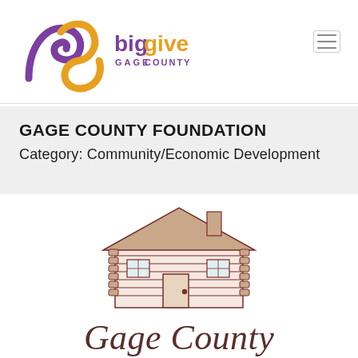[Figure (logo): Big Give Gage County logo with purple and orange stylized 'bg' letters and text 'biggive GAGE COUNTY']
GAGE COUNTY FOUNDATION
Category: Community/Economic Development
[Figure (logo): Gage County Foundation logo: illustration of a log cabin and italic text 'Gage County']